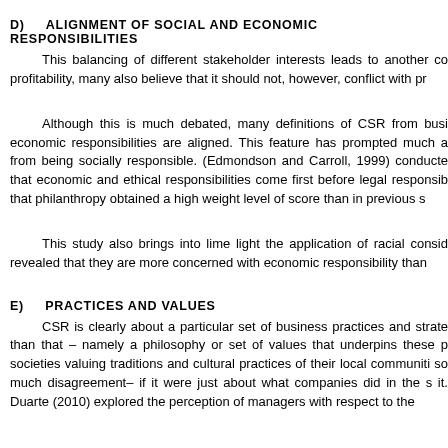D)  ALIGNMENT OF SOCIAL AND ECONOMIC RESPONSIBILITIES
This balancing of different stakeholder interests leads to another co profitability, many also believe that it should not, however, conflict with pr
Although this is much debated, many definitions of CSR from busi economic responsibilities are aligned. This feature has prompted much a from being socially responsible. (Edmondson and Carroll, 1999) conducte that economic and ethical responsibilities come first before legal responsib that philanthropy obtained a high weight level of score than in previous s
This study also brings into lime light the application of racial consid revealed that they are more concerned with economic responsibility than
E)  PRACTICES AND VALUES
CSR is clearly about a particular set of business practices and strate than that – namely a philosophy or set of values that underpins these p societies valuing traditions and cultural practices of their local communiti so much disagreement– if it were just about what companies did in the s it. Duarte (2010) explored the perception of managers with respect to the